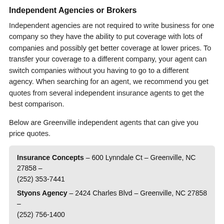Independent Agencies or Brokers
Independent agencies are not required to write business for one company so they have the ability to put coverage with lots of companies and possibly get better coverage at lower prices. To transfer your coverage to a different company, your agent can switch companies without you having to go to a different agency. When searching for an agent, we recommend you get quotes from several independent insurance agents to get the best comparison.
Below are Greenville independent agents that can give you price quotes.
Insurance Concepts – 600 Lynndale Ct – Greenville, NC 27858 – (252) 353-7441
Styons Agency – 2424 Charles Blvd – Greenville, NC 27858 – (252) 756-1400
Spencer Agency – 3107 S Evans St # 1 – Greenville, NC 27834 – (252) 355-1133
Cita Insurance – 1530 S Evans St – Greenville, NC 27834 – (252)